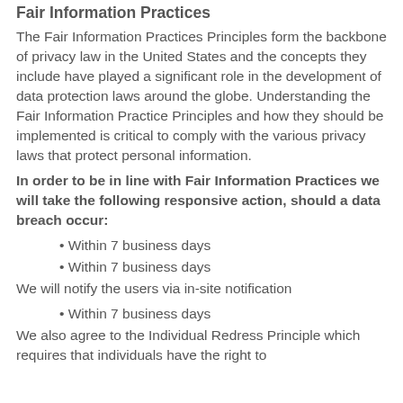Fair Information Practices
The Fair Information Practices Principles form the backbone of privacy law in the United States and the concepts they include have played a significant role in the development of data protection laws around the globe. Understanding the Fair Information Practice Principles and how they should be implemented is critical to comply with the various privacy laws that protect personal information.
In order to be in line with Fair Information Practices we will take the following responsive action, should a data breach occur:
• Within 7 business days
• Within 7 business days
We will notify the users via in-site notification
• Within 7 business days
We also agree to the Individual Redress Principle which requires that individuals have the right to